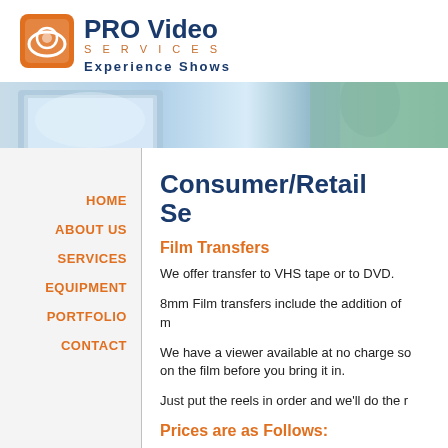[Figure (logo): PRO Video Services logo with orange square icon showing a crescent/lens shape, dark blue bold text 'PRO Video', orange spaced text 'SERVICES', dark blue bold spaced text 'Experience Shows']
[Figure (photo): Banner photo showing a laptop with blue abstract background on the left and a blurred person with teal/green tones on the right]
HOME
ABOUT US
SERVICES
EQUIPMENT
PORTFOLIO
CONTACT
Consumer/Retail Se...
Film Transfers
We offer transfer to VHS tape or to DVD.
8mm Film transfers include the addition of m...
We have a viewer available at no charge so... on the film before you bring it in.
Just put the reels in order and we'll do the r...
Prices are as Follows: